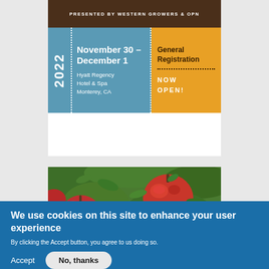PRESENTED BY WESTERN GROWERS & OPN
[Figure (infographic): Event banner for 2022 conference: November 30 – December 1, Hyatt Regency Hotel & Spa, Monterey, CA. Blue section with year 2022 and date/location. Orange section with General Registration NOW OPEN!]
[Figure (photo): Close-up photo of red apples on a tree branch with green leaves]
We use cookies on this site to enhance your user experience
By clicking the Accept button, you agree to us doing so.
Accept
No, thanks